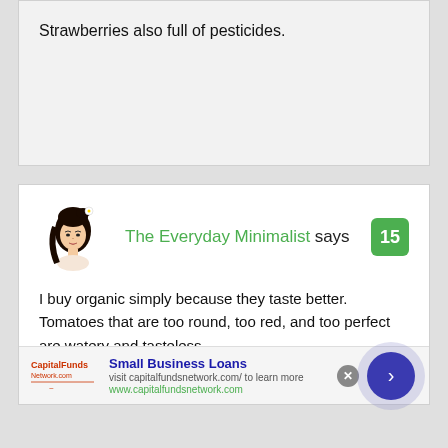Strawberries also full of pesticides.
The Everyday Minimalist says
I buy organic simply because they taste better. Tomatoes that are too round, too red, and too perfect are watery and tasteless
Heirlooms are the best.. totally misshapen and a
Small Business Loans
visit capitalfundsnetwork.com/ to learn more
www.capitalfundsnetwork.com